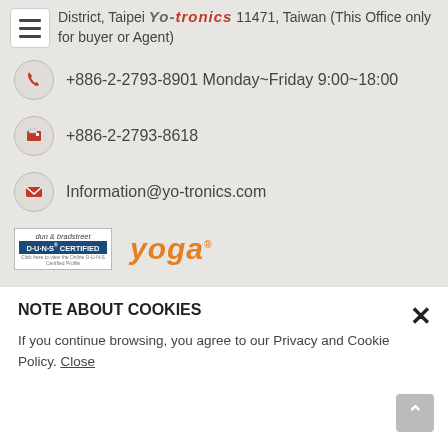Yo-tronics — District, Taipei 11471, Taiwan (This Office only for buyer or Agent)
+886-2-2793-8901 Monday~Friday 9:00~18:00
+886-2-2793-8618
Information@yo-tronics.com
[Figure (logo): Dun & Bradstreet D-U-N-S CERTIFIED badge]
[Figure (logo): Yoga brand logo in orange italic text]
*All specifications on website are only for reference, should be approved by manufacturer.
NOTE ABOUT COOKIES
If you continue browsing, you agree to our Privacy and Cookie Policy. Close